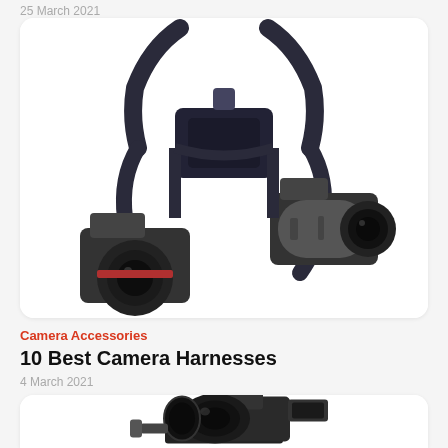25 March 2021
[Figure (photo): Camera dual harness system holding two DSLR cameras with lenses, shown from the front against a white background inside a rounded card]
Camera Accessories
10 Best Camera Harnesses
4 March 2021
[Figure (photo): DSLR camera with a large wide-angle lens mounted on a gimbal stabilizer, shown against a white background inside a rounded card]